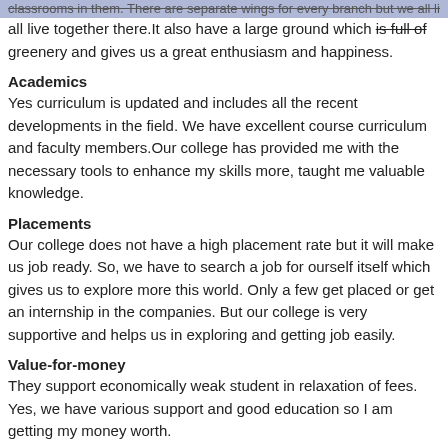classrooms in them. There are separate wings for every branch but we all live together there. It also have a large ground which is full of greenery and gives us a great enthusiasm and happiness.
Academics
Yes curriculum is updated and includes all the recent developments in the field. We have excellent course curriculum and faculty members.Our college has provided me with the necessary tools to enhance my skills more, taught me valuable knowledge.
Placements
Our college does not have a high placement rate but it will make us job ready. So, we have to search a job for ourself itself which gives us to explore more this world. Only a few get placed or get an internship in the companies. But our college is very supportive and helps us in exploring and getting job easily.
Value-for-money
They support economically weak student in relaxation of fees. Yes, we have various support and good education so I am getting my money worth.
Campus Life
Its all good , we enjoy really and study also. Faculty and staff is very supportive and we will participate in various competitions here which gave me a feling of joy. The college is well situated and have all the facility a syudent want.